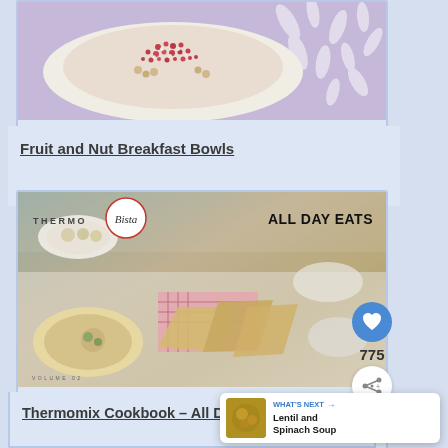[Figure (photo): Top-down view of a fruit and nut breakfast bowl on a light purple floral background]
Fruit and Nut Breakfast Bowls
[Figure (photo): Thermobista All Day Eats cookbook cover showing a spread of food including pastries, hummus, and various dishes]
Thermomix Cookbook – All Day Eats
775
WHAT'S NEXT → Lentil and Spinach Soup